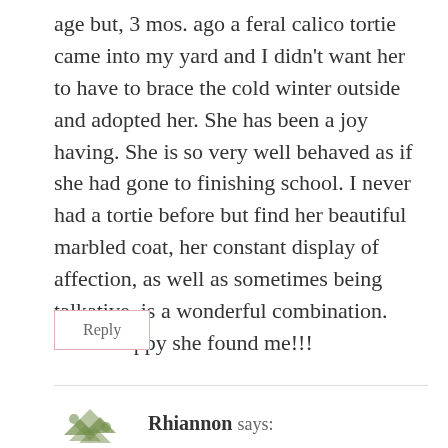age but, 3 mos. ago a feral calico tortie came into my yard and I didn't want her to have to brace the cold winter outside and adopted her. She has been a joy having. She is so very well behaved as if she had gone to finishing school. I never had a tortie before but find her beautiful marbled coat, her constant display of affection, as well as sometimes being talkative, is a wonderful combination. I'm so happy she found me!!!
Reply
Rhiannon says: